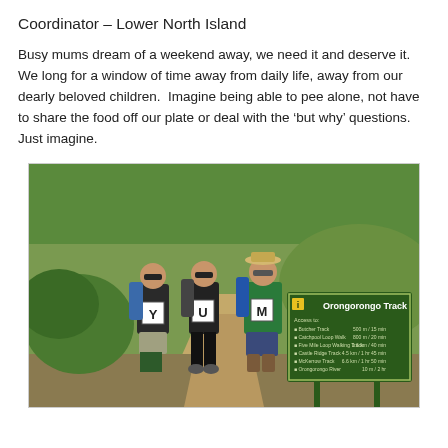Coordinator – Lower North Island
Busy mums dream of a weekend away, we need it and deserve it.  We long for a window of time away from daily life, away from our dearly beloved children.  Imagine being able to pee alone, not have to share the food off our plate or deal with the 'but why' questions. Just imagine.
[Figure (photo): Three women with backpacks standing on a trail next to a green Orongorongo Track sign. Each woman holds a letter tile: Y, U, M. Green hills and bush in background.]